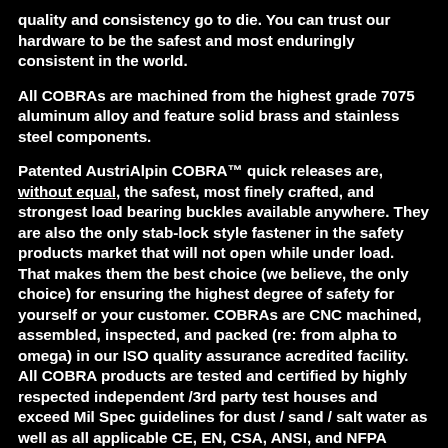quality and consistency go to die. You can trust our hardware to be the safest and most enduringly consistent in the world.
All COBRAs are machined from the highest grade 7075 aluminum alloy and feature solid brass and stainless steel components.
Patented AustriAlpin COBRA™ quick releases are, without equal, the safest, most finely crafted, and strongest load bearing buckles available anywhere. They are also the only stab-lock style fastener in the safety products market that will not open while under load. That makes them the best choice (we believe, the only choice) for ensuring the highest degree of safety for yourself or your customer. COBRAs are CNC machined, assembled, inspected, and packed (re: from alpha to omega) in our ISO quality assurance acredited facility. All COBRA products are tested and certified by highly respected independent /3rd party test houses and exceed Mil Spec guidelines for dust / sand / salt water as well as all applicable CE, EN, CSA, ANSI, and NFPA standards for fall-protection and personal safety. Our superior designs and commitment to quality guarantees the highest degree of reliability and